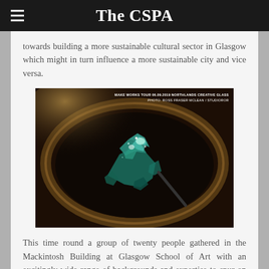The CSPA
towards building a more sustainable cultural sector in Glasgow which might in turn influence a more sustainable city and vice versa.
[Figure (photo): Close-up overhead photo of blue-green broken glass fragments in a dark circular bowl or vessel, with warm rim lighting. Photo credit: Make Works Tour, Northlands Creative Glass. Photo: Ross Fraser McLean / Studioror]
This time round a group of twenty people gathered in the Mackintosh Building at Glasgow School of Art with an excitingly wide range of backgrounds and expertise to spur on discussion. Our invited speaker,